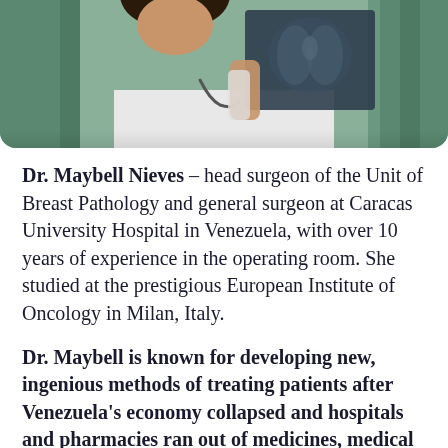[Figure (photo): A doctor in a white coat holding and examining an X-ray image, with a teal/green curtain background visible. The image is cropped at the top showing the doctor from approximately chest level, partially cut off at the top.]
Dr. Maybell Nieves – head surgeon of the Unit of Breast Pathology and general surgeon at Caracas University Hospital in Venezuela, with over 10 years of experience in the operating room. She studied at the prestigious European Institute of Oncology in Milan, Italy.
Dr. Maybell is known for developing new, ingenious methods of treating patients after Venezuela's economy collapsed and hospitals and pharmacies ran out of medicines, medical electricity, and…